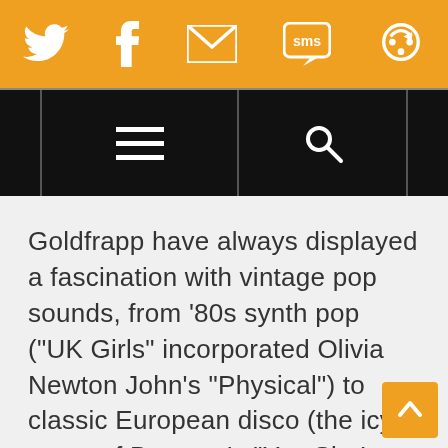[Social share bar: Twitter, Facebook, Email, SMS, other icons]
[Navigation bar with hamburger menu and search icon]
Goldfrapp have always displayed a fascination with vintage pop sounds, from ‘80s synth pop (“UK Girls” incorporated Olivia Newton John’s “Physical”) to classic European disco (the icy cover of Baccara’s “Yes Sir, I Can Boogie”), but it was glam that dominated Black Cherry, as the singles “Train” and “Strict Machine” (especially the “We Are Glitter” mix of the latter) borrowed heavily from the then-burgeoning electronic “schaffel” trend in Germany, which in turn was heavily indebted to